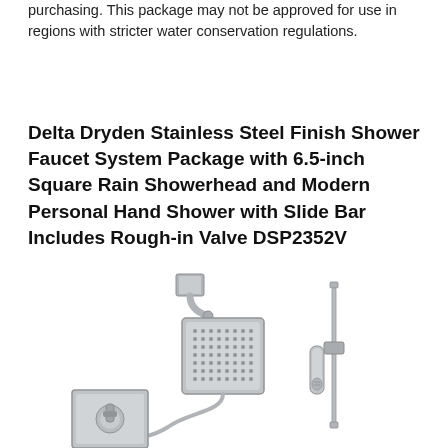purchasing. This package may not be approved for use in regions with stricter water conservation regulations.
Delta Dryden Stainless Steel Finish Shower Faucet System Package with 6.5-inch Square Rain Showerhead and Modern Personal Hand Shower with Slide Bar Includes Rough-in Valve DSP2352V
[Figure (photo): Product photo of Delta Dryden Stainless Steel shower faucet system showing a square rain showerhead mounted on wall arm, a slide bar with hand shower on the right, and a square shower valve/trim with lever handle at bottom left. All components in brushed stainless steel finish on white background.]